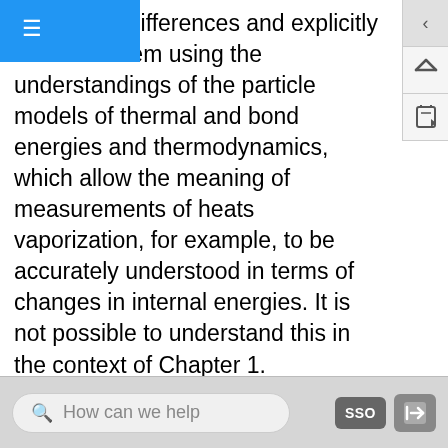☰
tand these differences and explicitly deal with them using the understandings of the particle models of thermal and bond energies and thermodynamics, which allow the meaning of measurements of heats vaporization, for example, to be accurately understood in terms of changes in internal energies. It is not possible to understand this in the context of Chapter 1.
Fourth Point: By taking the approach we have, students can make sense of the macroscopic changes in energy that occur and characterize them using the standard thermal properties of matter in a straightforward way, without getting bogged down in details that are not necessary to understand at this level.
How can we help   SSO